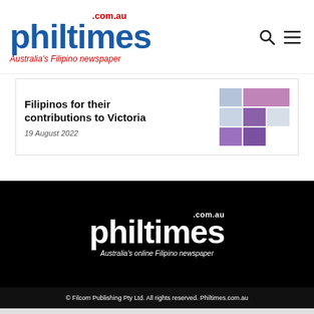philtimes.com.au — Australia's Filipino newspaper
Filipinos for their contributions to Victoria
19 August 2022
[Figure (logo): Philtimes.com.au white logo on black background with tagline: Australia's online Filipino newspaper]
© Filcom Publishing Pty Ltd. All rights reserved. Philtimes.com.au